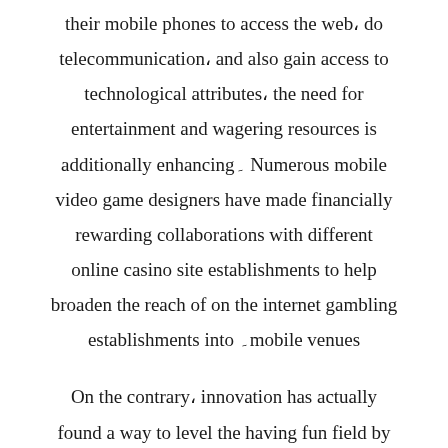their mobile phones to access the web، do telecommunication، and also gain access to technological attributes، the need for entertainment and wagering resources is additionally enhancing۔ Numerous mobile video game designers have made financially rewarding collaborations with different online casino site establishments to help broaden the reach of on the internet gambling establishments into ۔mobile venues

On the contrary، innovation has actually found a way to level the having fun field by likewise providing the land۔based facilities a much۔needed facelift۔